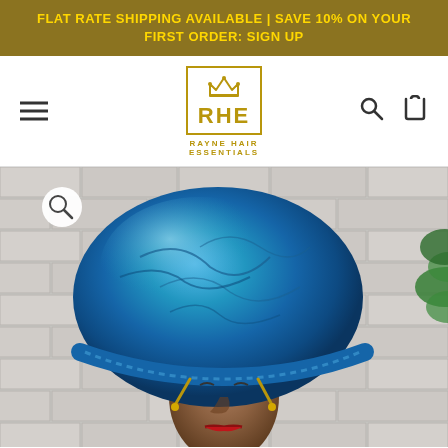FLAT RATE SHIPPING AVAILABLE | SAVE 10% ON YOUR FIRST ORDER: SIGN UP
[Figure (logo): RHE Rayne Hair Essentials logo — gold crown above RHE initials in a gold-bordered box, with 'RAYNE HAIR ESSENTIALS' text below]
[Figure (photo): A blue satin hair bonnet worn on a dark-skinned mannequin head, photographed against a white brick wall background. The bonnet is large, shiny, and royal blue with gathered elastic band and gold drawstring ties.]